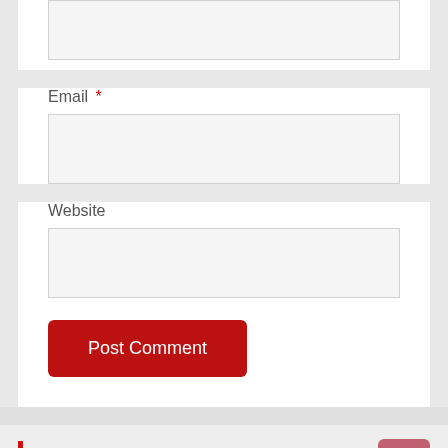Email *
Website
Post Comment
You may Missed
[Figure (illustration): Cherry blossom painting on golden background showing white flowers and dark branches on a warm golden/amber colored background.]